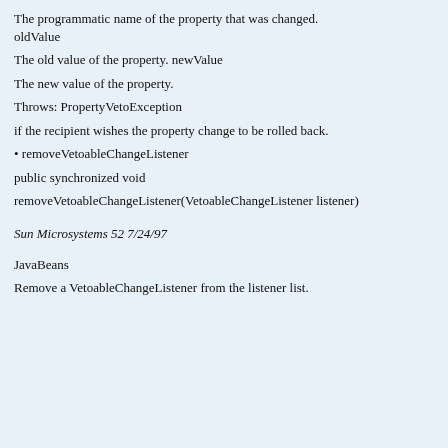The programmatic name of the property that was changed. oldValue
The old value of the property. newValue
The new value of the property.
Throws: PropertyVetoException
if the recipient wishes the property change to be rolled back.
• removeVetoableChangeListener
public synchronized void
removeVetoableChangeListener(VetoableChangeListener listener)
Sun Microsystems 52 7/24/97
JavaBeans
Remove a VetoableChangeListener from the listener list.